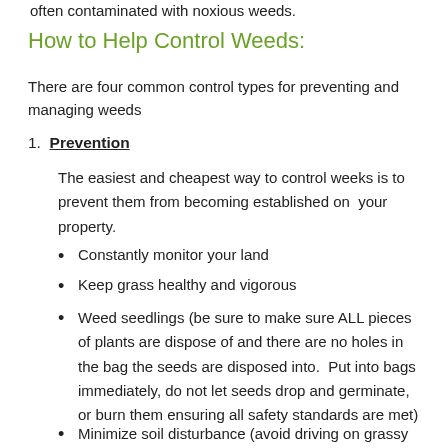often contaminated with noxious weeds.
How to Help Control Weeds:
There are four common control types for preventing and managing weeds
1. Prevention
The easiest and cheapest way to control weeks is to prevent them from becoming established on your property.
Constantly monitor your land
Keep grass healthy and vigorous
Weed seedlings (be sure to make sure ALL pieces of plants are dispose of and there are no holes in the bag the seeds are disposed into. Put into bags immediately, do not let seeds drop and germinate, or burn them ensuring all safety standards are met)
Minimize soil disturbance (avoid driving on grassy areas where possible)